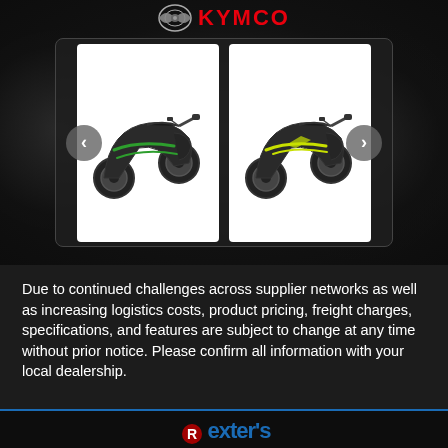[Figure (logo): KYMCO logo with wing emblem and red KYMCO text]
[Figure (photo): Two KYMCO scooters displayed side by side in a dark carousel interface with left and right navigation arrows. Left scooter is dark gray with green accents, right scooter is dark gray with yellow-green accents.]
Due to continued challenges across supplier networks as well as increasing logistics costs, product pricing, freight charges, specifications, and features are subject to change at any time without prior notice. Please confirm all information with your local dealership.
[Figure (logo): Partial footer logo at bottom with blue stylized text beginning with 'D' and a red character, on black background with blue top border]